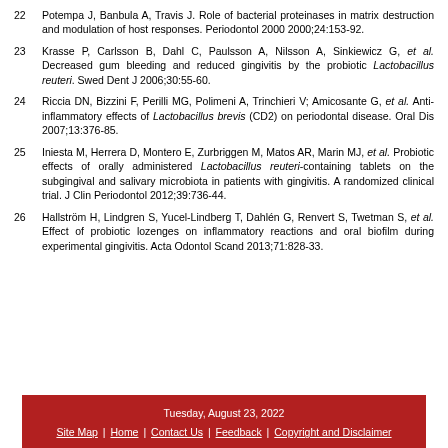22  Potempa J, Banbula A, Travis J. Role of bacterial proteinases in matrix destruction and modulation of host responses. Periodontol 2000 2000;24:153-92.
23  Krasse P, Carlsson B, Dahl C, Paulsson A, Nilsson A, Sinkiewicz G, et al. Decreased gum bleeding and reduced gingivitis by the probiotic Lactobacillus reuteri. Swed Dent J 2006;30:55-60.
24  Riccia DN, Bizzini F, Perilli MG, Polimeni A, Trinchieri V; Amicosante G, et al. Anti-inflammatory effects of Lactobacillus brevis (CD2) on periodontal disease. Oral Dis 2007;13:376-85.
25  Iniesta M, Herrera D, Montero E, Zurbriggen M, Matos AR, Marin MJ, et al. Probiotic effects of orally administered Lactobacillus reuteri-containing tablets on the subgingival and salivary microbiota in patients with gingivitis. A randomized clinical trial. J Clin Periodontol 2012;39:736-44.
26  Hallström H, Lindgren S, Yucel-Lindberg T, Dahlén G, Renvert S, Twetman S, et al. Effect of probiotic lozenges on inflammatory reactions and oral biofilm during experimental gingivitis. Acta Odontol Scand 2013;71:828-33.
Tuesday, August 23, 2022 | Site Map | Home | Contact Us | Feedback | Copyright and Disclaimer